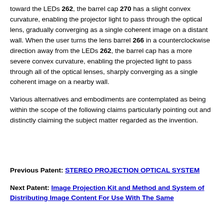toward the LEDs 262, the barrel cap 270 has a slight convex curvature, enabling the projector light to pass through the optical lens, gradually converging as a single coherent image on a distant wall. When the user turns the lens barrel 266 in a counterclockwise direction away from the LEDs 262, the barrel cap has a more severe convex curvature, enabling the projected light to pass through all of the optical lenses, sharply converging as a single coherent image on a nearby wall.
Various alternatives and embodiments are contemplated as being within the scope of the following claims particularly pointing out and distinctly claiming the subject matter regarded as the invention.
Previous Patent: STEREO PROJECTION OPTICAL SYSTEM
Next Patent: Image Projection Kit and Method and System of Distributing Image Content For Use With The Same